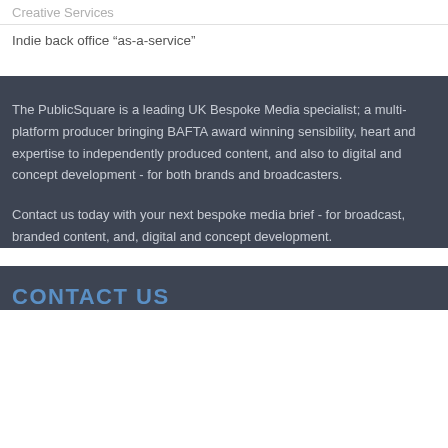Creative Services
Indie back office “as-a-service”
The PublicSquare is a leading UK Bespoke Media specialist; a multi-platform producer bringing BAFTA award winning sensibility, heart and expertise to independently produced content, and also to digital and concept development - for both brands and broadcasters.
Contact us today with your next bespoke media brief - for broadcast, branded content, and, digital and concept development.
CONTACT US